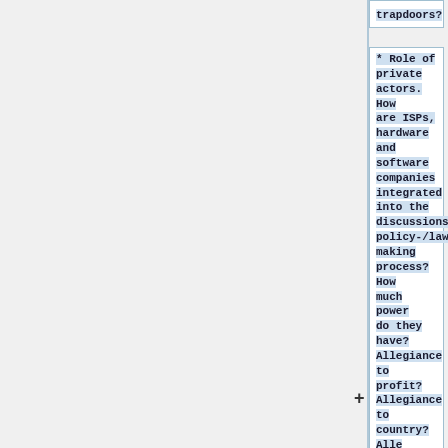trapdoors?
* Role of private actors. How are ISPs, hardware and software companies integrated into the discussions/policy-/law-making process? How much power do they have? Allegiance to profit? Allegiance to country? Allegiance to...